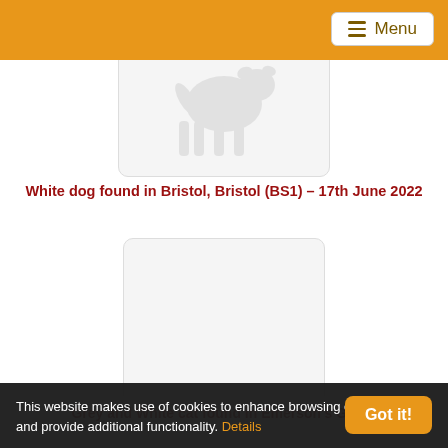Menu
[Figure (illustration): Dog silhouette placeholder image in a rounded rectangle box]
White dog found in Bristol, Bristol (BS1) - 17th June 2022
[Figure (illustration): Empty placeholder image in a rounded rectangle box for a cat]
Grey and White cat found in Emerson's Green
This website makes use of cookies to enhance browsing experience and provide additional functionality. Details
Got it!